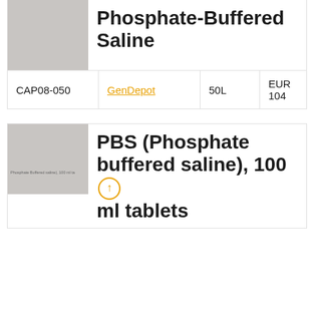[Figure (photo): Gray placeholder image for Phosphate-Buffered Saline product]
Phosphate-Buffered Saline
| CAP08-050 | GenDepot | 50L | EUR 104 |
| --- | --- | --- | --- |
[Figure (photo): Gray placeholder image for PBS (Phosphate buffered saline) 100 ml tablets product with small watermark text]
PBS (Phosphate buffered saline), 100 ml tablets